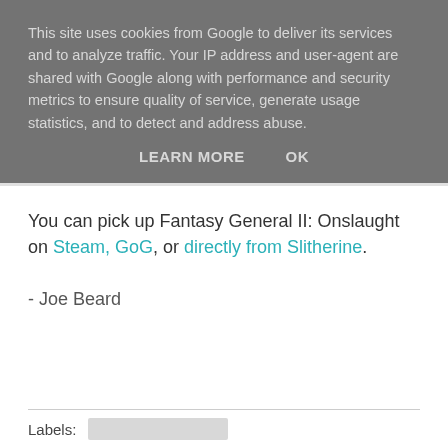This site uses cookies from Google to deliver its services and to analyze traffic. Your IP address and user-agent are shared with Google along with performance and security metrics to ensure quality of service, generate usage statistics, and to detect and address abuse.
LEARN MORE   OK
You can pick up Fantasy General II: Onslaught on Steam, GoG, or directly from Slitherine.
- Joe Beard
Labels: